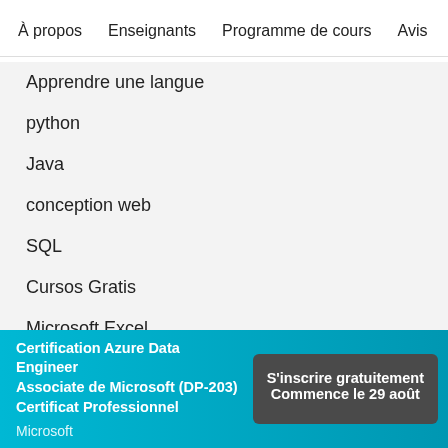À propos   Enseignants   Programme de cours   Avis   Op
Apprendre une langue
python
Java
conception web
SQL
Cursos Gratis
Microsoft Excel
Gestion de projet
Cybersécurité
Ressources humaines
Certification Azure Data Engineer Associate de Microsoft (DP-203) Certificat Professionnel
Microsoft
S'inscrire gratuitement Commence le 29 août